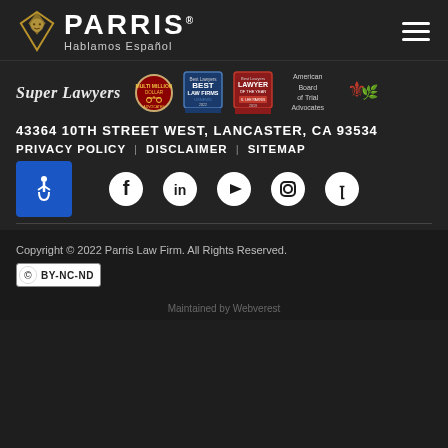[Figure (logo): PARRIS Law Firm logo with diamond/lion icon and 'Hablamos Español' tagline, hamburger menu icon on right]
[Figure (infographic): Row of award badges: Super Lawyers, Multi Million Dollar Advocates Forum, Best Law Firms US News, Best Lawyers Lawyer of the Year, American Board of Trial Advocates]
43364 10TH STREET WEST, LANCASTER, CA 93534
PRIVACY POLICY | DISCLAIMER | SITEMAP
[Figure (infographic): Social media icons: Facebook, LinkedIn, YouTube, Instagram, Yelp; ADA accessibility button on left]
Copyright © 2022 Parris Law Firm. All Rights Reserved.
[Figure (logo): Creative Commons BY-NC-ND license badge]
Maintained by Webverest